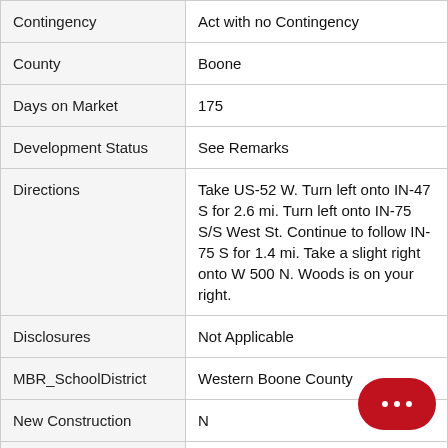| Field | Value |
| --- | --- |
| Contingency | Act with no Contingency |
| County | Boone |
| Days on Market | 175 |
| Development Status | See Remarks |
| Directions | Take US-52 W. Turn left onto IN-47 S for 2.6 mi. Turn left onto IN-75 S/S West St. Continue to follow IN-75 S for 1.4 mi. Take a slight right onto W 500 N. Woods is on your right. |
| Disclosures | Not Applicable |
| MBR_SchoolDistrict | Western Boone County |
| New Construction | N |
| Possession | Close of Escrow |
| Property SubType | Residential Lots |